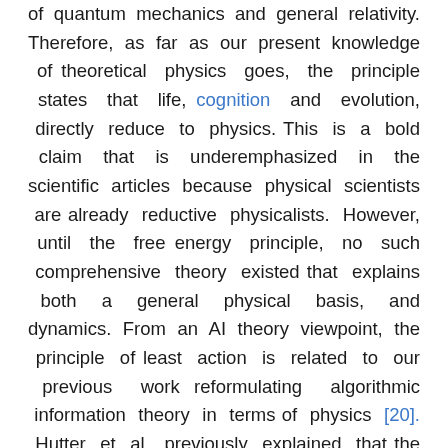of quantum mechanics and general relativity. Therefore, as far as our present knowledge of theoretical physics goes, the principle states that life, cognition and evolution, directly reduce to physics. This is a bold claim that is underemphasized in the scientific articles because physical scientists are already reductive physicalists. However, until the free energy principle, no such comprehensive theory existed that explains both a general physical basis, and dynamics. From an AI theory viewpoint, the principle of least action is related to our previous work reformulating algorithmic information theory in terms of physics [20]. Hutter et al. previously explained that the universal induction theory works, as it acts as a formalization of Occam's razor [17, 24]. However, the physical formulation in [20] goes deeper, as we introduced minimum volume, minimum energy, and minimum (quantum) action complexities. If the main